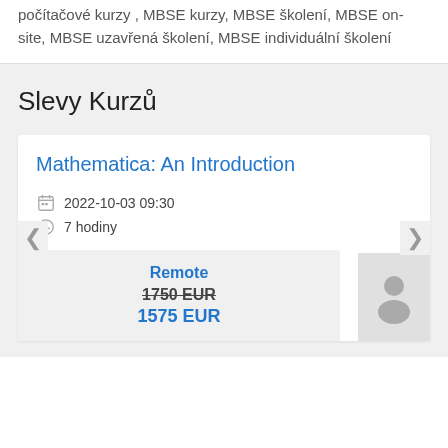počítačové kurzy , MBSE kurzy, MBSE školení, MBSE on-site, MBSE uzavřená školení, MBSE individuální školení
Slevy Kurzů
Mathematica: An Introduction
2022-10-03 09:30
7 hodiny
Remote
1750 EUR
1575 EUR